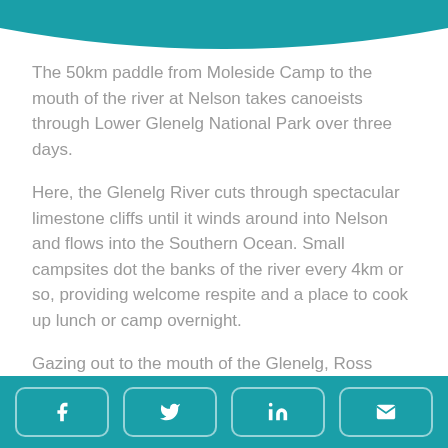[Figure (illustration): Teal decorative wave arc at the top of the page]
The 50km paddle from Moleside Camp to the mouth of the river at Nelson takes canoeists through Lower Glenelg National Park over three days.
Here, the Glenelg River cuts through spectacular limestone cliffs until it winds around into Nelson and flows into the Southern Ocean. Small campsites dot the banks of the river every 4km or so, providing welcome respite and a place to cook up lunch or camp overnight.
Gazing out to the mouth of the Glenelg, Ross recalls how the river has changed over the years. A
Social share bar with Facebook, Twitter, LinkedIn, and email buttons